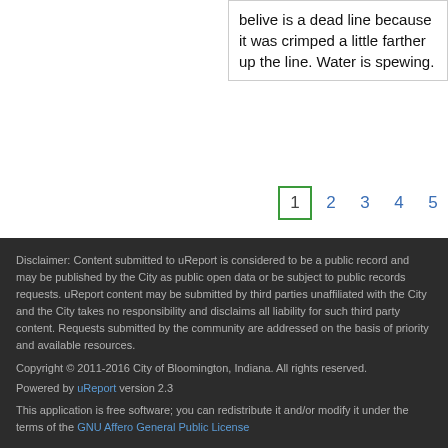belive is a dead line because it was crimped a little farther up the line. Water is spewing.
1  2  3  4  5
Disclaimer: Content submitted to uReport is considered to be a public record and may be published by the City as public open data or be subject to public records requests. uReport content may be submitted by third parties unaffiliated with the City and the City takes no responsibility and disclaims all liability for such third party content. Requests submitted by the community are addressed on the basis of priority and available resources.
Copyright © 2011-2016 City of Bloomington, Indiana. All rights reserved.
Powered by uReport version 2.3
This application is free software; you can redistribute it and/or modify it under the terms of the GNU Affero General Public License